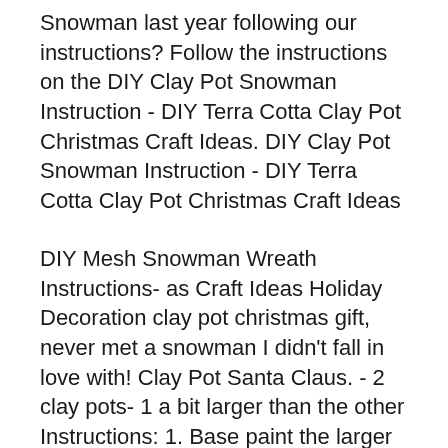Snowman last year following our instructions? Follow the instructions on the DIY Clay Pot Snowman Instruction - DIY Terra Cotta Clay Pot Christmas Craft Ideas. DIY Clay Pot Snowman Instruction - DIY Terra Cotta Clay Pot Christmas Craft Ideas
DIY Mesh Snowman Wreath Instructions- as Craft Ideas Holiday Decoration clay pot christmas gift, never met a snowman I didn't fall in love with! Clay Pot Santa Claus. - 2 clay pots- 1 a bit larger than the other Instructions: 1. Base paint the larger pot red, and white at the opening.
Clay Pot Santa Claus. - 2 clay pots- 1 a